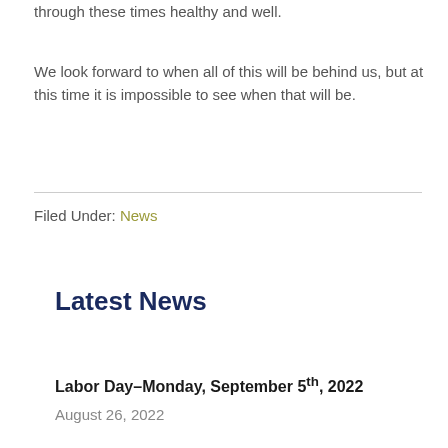through these times healthy and well.
We look forward to when all of this will be behind us, but at this time it is impossible to see when that will be.
Filed Under: News
Latest News
Labor Day–Monday, September 5th, 2022
August 26, 2022